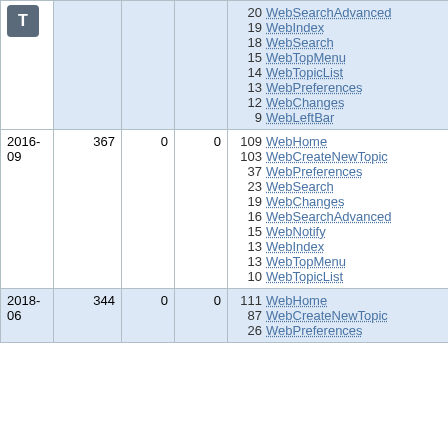|  |  |  |  |  | Top views |
| --- | --- | --- | --- | --- | --- |
|  |  |  |  | 20 WebSearchAdvanced | 19 WebIndex | 18 WebSearch | 15 WebTopMenu | 14 WebTopicList | 13 WebPreferences | 12 WebChanges | 9 WebLeftBar |
| 2016-09 | 367 | 0 | 0 | 109 WebHome | 103 WebCreateNewTopic | 37 WebPreferences | 23 WebSearch | 19 WebChanges | 16 WebSearchAdvanced | 15 WebNotify | 13 WebIndex | 13 WebTopMenu | 10 WebTopicList |
| 2018-06 | 344 | 0 | 0 | 111 WebHome | 87 WebCreateNewTopic | 26 WebPreferences |